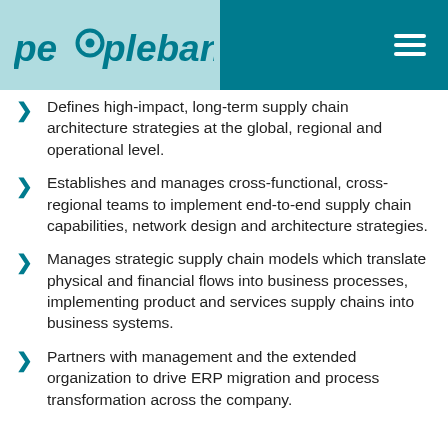peoplebank
Defines high-impact, long-term supply chain architecture strategies at the global, regional and operational level.
Establishes and manages cross-functional, cross-regional teams to implement end-to-end supply chain capabilities, network design and architecture strategies.
Manages strategic supply chain models which translate physical and financial flows into business processes, implementing product and services supply chains into business systems.
Partners with management and the extended organization to drive ERP migration and process transformation across the company.